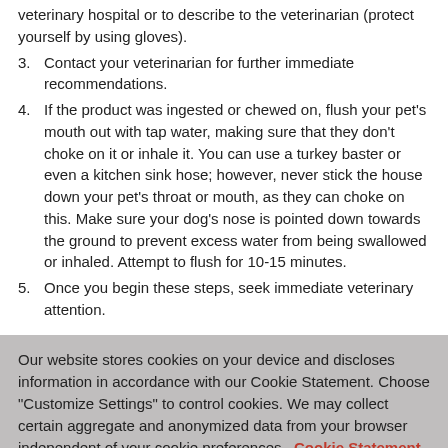veterinary hospital or to describe to the veterinarian (protect yourself by using gloves).
3. Contact your veterinarian for further immediate recommendations.
4. If the product was ingested or chewed on, flush your pet's mouth out with tap water, making sure that they don't choke on it or inhale it. You can use a turkey baster or even a kitchen sink hose; however, never stick the house down your pet's throat or mouth, as they can choke on this. Make sure your dog's nose is pointed down towards the ground to prevent excess water from being swallowed or inhaled. Attempt to flush for 10-15 minutes.
5. Once you begin these steps, seek immediate veterinary attention.
Our website stores cookies on your device and discloses information in accordance with our Cookie Statement. Choose "Customize Settings" to control cookies. We may collect certain aggregate and anonymized data from your browser independent of your cookie preferences. Cookie Statement